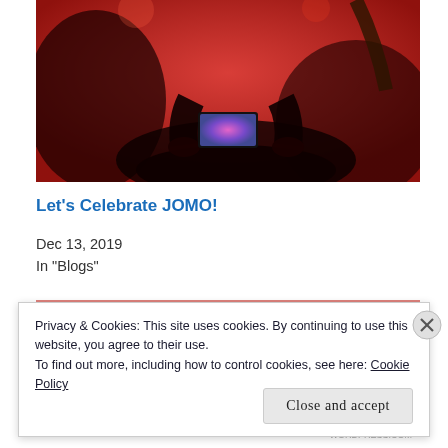[Figure (photo): Person holding a smartphone recording a live music concert with red stage lighting. Silhouettes of crowd visible.]
Let's Celebrate JOMO!
Dec 13, 2019
In "Blogs"
Privacy & Cookies: This site uses cookies. By continuing to use this website, you agree to their use.
To find out more, including how to control cookies, see here: Cookie Policy
Close and accept